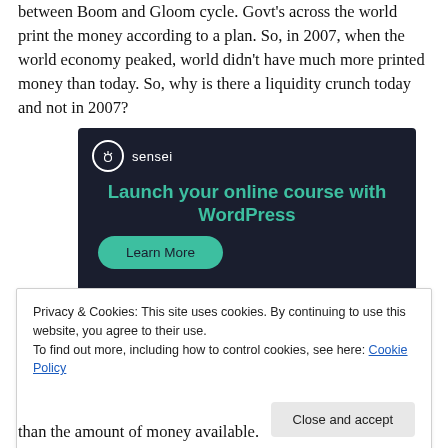between Boom and Gloom cycle. Govt's across the world print the money according to a plan. So, in 2007, when the world economy peaked, world didn't have much more printed money than today. So, why is there a liquidity crunch today and not in 2007?
[Figure (other): Advertisement banner for Sensei plugin: dark background with logo, headline 'Launch your online course with WordPress', and a 'Learn More' teal button.]
Privacy & Cookies: This site uses cookies. By continuing to use this website, you agree to their use.
To find out more, including how to control cookies, see here: Cookie Policy
than the amount of money available.